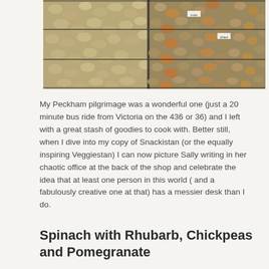[Figure (photo): Close-up photo of bins of nuts and dried fruits at a market stall, showing pistachios and mixed nuts/dried fruits in compartments separated by dark dividers.]
My Peckham pilgrimage was a wonderful one (just a 20 minute bus ride from Victoria on the 436 or 36) and I left with a great stash of goodies to cook with. Better still, when I dive into my copy of Snackistan (or the equally inspiring Veggiestan) I can now picture Sally writing in her chaotic office at the back of the shop and celebrate the idea that at least one person in this world ( and a fabulously creative one at that) has a messier desk than I do.
Spinach with Rhubarb, Chickpeas and Pomegranate